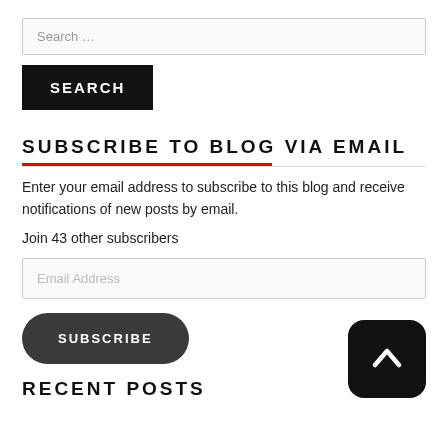Search …
SEARCH
SUBSCRIBE TO BLOG VIA EMAIL
Enter your email address to subscribe to this blog and receive notifications of new posts by email.
Join 43 other subscribers
Email Address
SUBSCRIBE
[Figure (other): Scroll-to-top button with upward chevron arrow on black rounded square]
RECENT POSTS